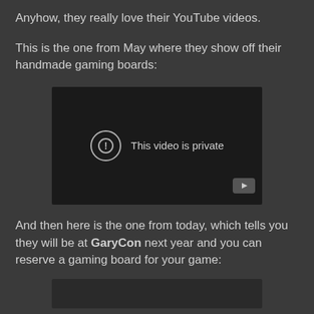Anyhow, they really love their YouTube videos.
This is the one from May where they show off their handmade gaming boards:
[Figure (screenshot): Embedded YouTube video player showing 'This video is private' error message with a circle-exclamation icon and YouTube logo in the bottom right corner.]
And then here is the one from today, which tells you they will be at GaryCon next year and you can reserve a gaming board for your game:
[Figure (screenshot): Bottom portion of a second embedded YouTube video player, partially visible.]